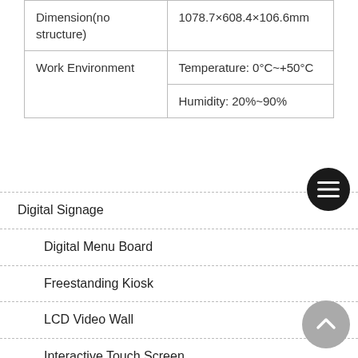| Dimension(no structure) | 1078.7×608.4×106.6mm |
| Work Environment | Temperature: 0°C~+50°C |
|  | Humidity: 20%~90% |
Digital Signage
Digital Menu Board
Freestanding Kiosk
LCD Video Wall
Interactive Touch Screen
LED Screen
Indoor LED Screen